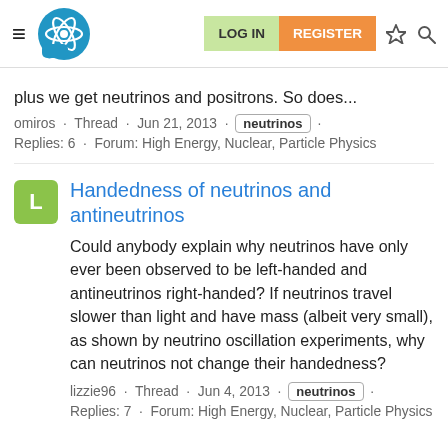Physics Forums — LOG IN | REGISTER
plus we get neutrinos and positrons. So does...
omiros · Thread · Jun 21, 2013 · neutrinos · Replies: 6 · Forum: High Energy, Nuclear, Particle Physics
Handedness of neutrinos and antineutrinos
Could anybody explain why neutrinos have only ever been observed to be left-handed and antineutrinos right-handed? If neutrinos travel slower than light and have mass (albeit very small), as shown by neutrino oscillation experiments, why can neutrinos not change their handedness?
lizzie96 · Thread · Jun 4, 2013 · neutrinos · Replies: 7 · Forum: High Energy, Nuclear, Particle Physics